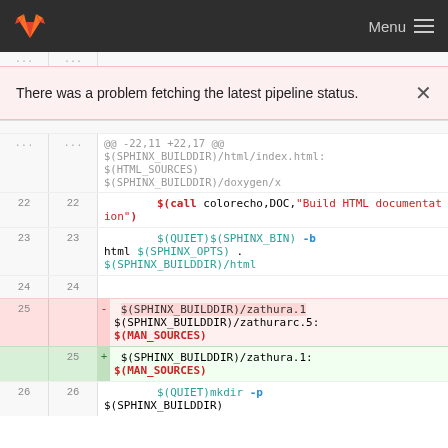GitLab · Menu
There was a problem fetching the latest pipeline status.
[Figure (screenshot): GitLab diff view showing Makefile changes. Lines 22-26 visible. Lines show $(call colorecho,DOC,"Build HTML documentation"), $(QUIET)$(SPHINX_BIN) -b html $(SPHINX_OPTS) . $(SPHINX_BUILDDIR)/html, and diffs removing $(SPHINX_BUILDDIR)/zathura.1 $(SPHINX_BUILDDIR)/zathurarc.5: $(MAN_SOURCES) and adding $(SPHINX_BUILDDIR)/zathura.1: $(MAN_SOURCES).]